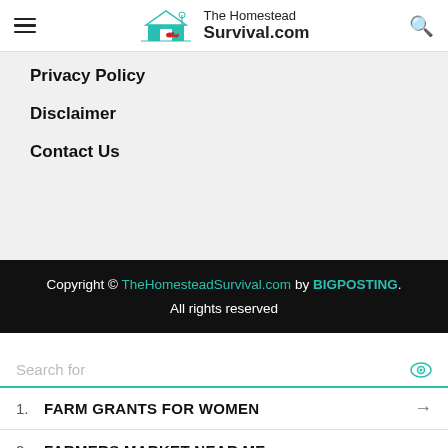The Homestead Survival.com
Privacy Policy
Disclaimer
Contact Us
Copyright © TheHomesteadSurvival.com by BIGPOSTING. All rights reserved
Search for
1. FARM GRANTS FOR WOMEN
2. FARMERS MARKET NEAR ME
Yahoo! Search | Sponsored